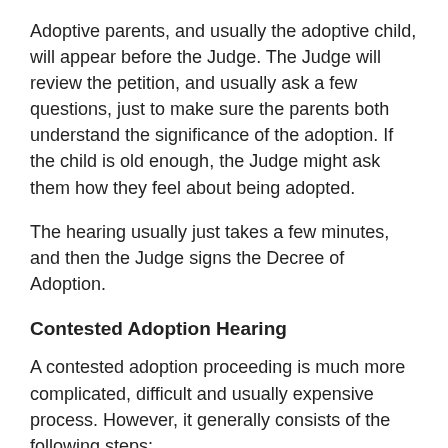Adoptive parents, and usually the adoptive child, will appear before the Judge. The Judge will review the petition, and usually ask a few questions, just to make sure the parents both understand the significance of the adoption. If the child is old enough, the Judge might ask them how they feel about being adopted.
The hearing usually just takes a few minutes, and then the Judge signs the Decree of Adoption.
Contested Adoption Hearing
A contested adoption proceeding is much more complicated, difficult and usually expensive process. However, it generally consists of the following steps:
The Petition to Adopt and Notice of the hearing must be served on the people whose consent was not filed with the Petition.